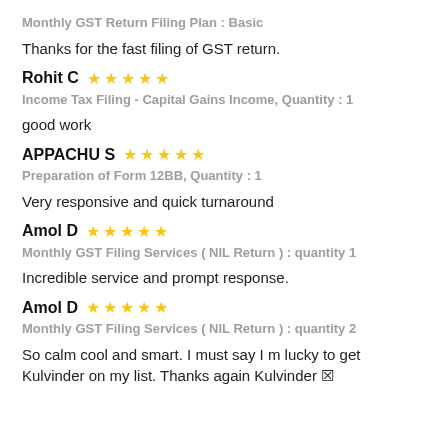Monthly GST Return Filing Plan : Basic
Thanks for the fast filing of GST return.
Rohit C ★★★★★
Income Tax Filing – Capital Gains Income, Quantity : 1
good work
APPACHU S ★★★★★
Preparation of Form 12BB, Quantity : 1
Very responsive and quick turnaround
Amol D ★★★★★
Monthly GST Filing Services ( NIL Return ) : quantity 1
Incredible service and prompt response.
Amol D ★★★★★
Monthly GST Filing Services ( NIL Return ) : quantity 2
So calm cool and smart. I must say I m lucky to get Kulvinder on my list. Thanks again Kulvinder ✗